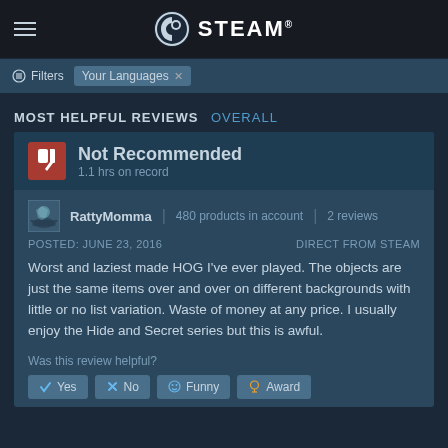STEAM®
Filters  Your Languages ×
MOST HELPFUL REVIEWS  OVERALL
Not Recommended
1.1 hrs on record
RattyMomma | 480 products in account | 2 reviews
POSTED: JUNE 23, 2016    DIRECT FROM STEAM
Worst and laziest made HOG I've ever played. The objects are just the same items over and over on different backgrounds with little or no list variation. Waste of money at any price. I usually enjoy the Hide and Secret series but this is awful.
Was this review helpful?
Yes  No  Funny  Award